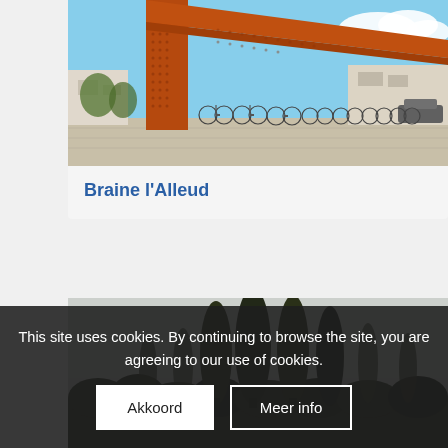[Figure (photo): A Corten steel bike shelter canopy with perforated panels over rows of parked bicycles, on a sunny day with blue sky and suburban buildings in the background.]
Braine l'Alleud
[Figure (photo): A row of tall trees (poplars) silhouetted against an overcast grey sky with darker green vegetation in the foreground.]
This site uses cookies. By continuing to browse the site, you are agreeing to our use of cookies.